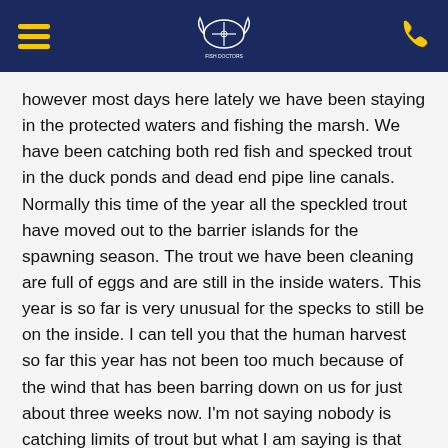Navigation header with hamburger menu, fishing charter logo, and phone icon
however most days here lately we have been staying in the protected waters and fishing the marsh. We have been catching both red fish and specked trout in the duck ponds and dead end pipe line canals. Normally this time of the year all the speckled trout have moved out to the barrier islands for the spawning season. The trout we have been cleaning are full of eggs and are still in the inside waters. This year is so far is very unusual for the specks to still be on the inside. I can tell you that the human harvest so far this year has not been too much because of the wind that has been barring down on us for just about three weeks now. I'm not saying nobody is catching limits of trout but what I am saying is that the days are few and far between in regards to the days you can get out there to where they are spawning. Well when it comes to fishing we will take what mother nature gives us. If the wind wants to blow like she has been doing we just stay in protected waters and keep catching red fish until she decides to settle down. One thing I know for sure is that when the wind does lay down the